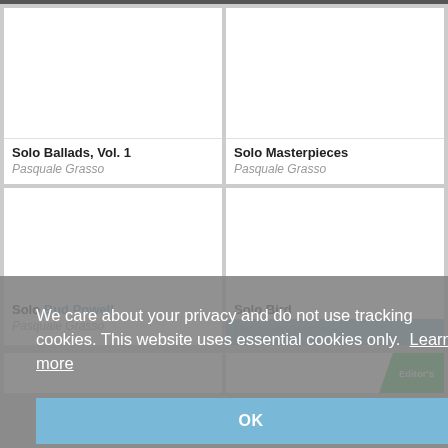[Figure (screenshot): Music album grid showing four album cards: Solo Ballads Vol. 1 by Pasquale Grasso, Solo Masterpieces by Pasquale Grasso, Solo Bud Powell by Pasquale Grasso, Solo Bird by Pasquale Grasso, with a cookie consent banner overlay]
Solo Ballads, Vol. 1
Pasquale Grasso
Solo Masterpieces
Pasquale Grasso
Solo Bud Powell
Pasquale Grasso
Solo Bird
Pasquale Grasso
We care about your privacy and do not use tracking cookies. This website uses essential cookies only. Learn more
OK